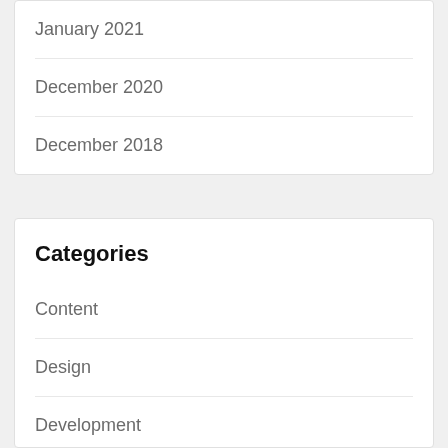January 2021
December 2020
December 2018
Categories
Content
Design
Development